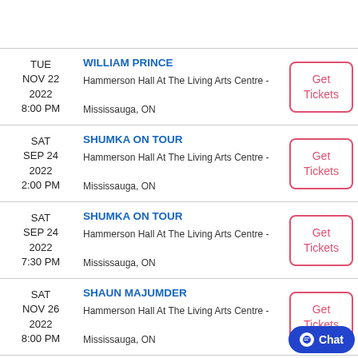TUE NOV 22 2022 8:00 PM | WILLIAM PRINCE | Hammerson Hall At The Living Arts Centre - Mississauga, ON
SAT SEP 24 2022 2:00 PM | SHUMKA ON TOUR | Hammerson Hall At The Living Arts Centre - Mississauga, ON
SAT SEP 24 2022 7:30 PM | SHUMKA ON TOUR | Hammerson Hall At The Living Arts Centre - Mississauga, ON
SAT NOV 26 2022 8:00 PM | SHAUN MAJUMDER | Hammerson Hall At The Living Arts Centre - Mississauga, ON
MISSISSAUGA SYMPHON...